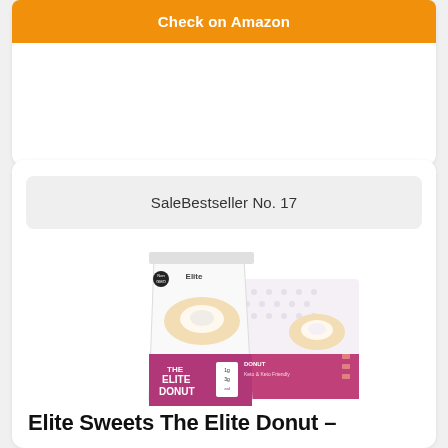Check on Amazon
SaleBestseller No. 17
[Figure (photo): Elite Sweets The Elite Donut product packaging — a white and magenta/purple bag and box showing donuts]
Elite Sweets The Elite Donut –